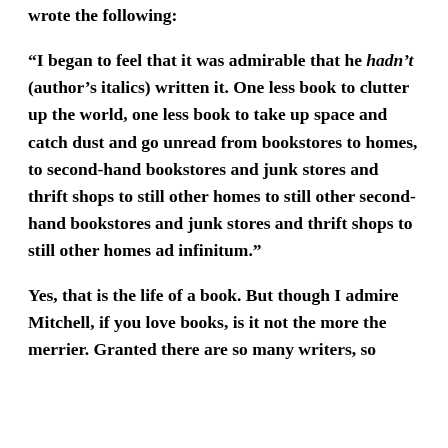wrote the following:
“I began to feel that it was admirable that he hadn’t (author’s italics) written it. One less book to clutter up the world, one less book to take up space and catch dust and go unread from bookstores to homes, to second-hand bookstores and junk stores and thrift shops to still other homes to still other second-hand bookstores and junk stores and thrift shops to still other homes ad infinitum.”
Yes, that is the life of a book. But though I admire Mitchell, if you love books, is it not the more the merrier. Granted there are so many writers, so